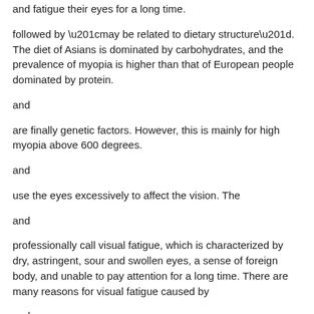and fatigue their eyes for a long time.
followed by “may be related to dietary structure”. The diet of Asians is dominated by carbohydrates, and the prevalence of myopia is higher than that of European people dominated by protein.
and
are finally genetic factors. However, this is mainly for high myopia above 600 degrees.
and
use the eyes excessively to affect the vision. The
and
professionally call visual fatigue, which is characterized by dry, astringent, sour and swollen eyes, a sense of foreign body, and unable to pay attention for a long time. There are many reasons for visual fatigue caused by
and